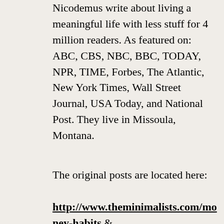Nicodemus write about living a meaningful life with less stuff for 4 million readers. As featured on: ABC, CBS, NBC, BBC, TODAY, NPR, TIME, Forbes, The Atlantic, New York Times, Wall Street Journal, USA Today, and National Post. They live in Missoula, Montana.
The original posts are located here:
http://www.theminimalists.com/money-habits &